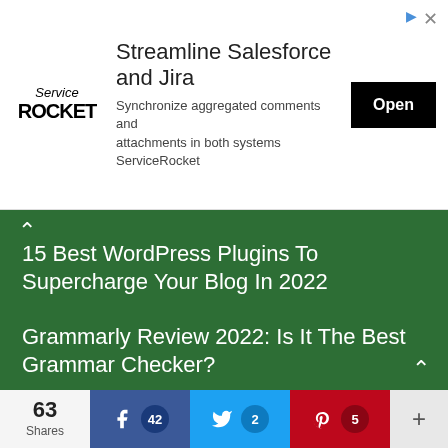[Figure (screenshot): ServiceRocket advertisement banner: logo on left, title 'Streamline Salesforce and Jira', subtitle 'Synchronize aggregated comments and attachments in both systems ServiceRocket', Open button on right, ad icons top-right]
15 Best WordPress Plugins To Supercharge Your Blog In 2022
Grammarly Review 2022: Is It The Best Grammar Checker?
DesignEvo Review 2022: Create Best Logo for Free Easily
How to Sell Photos Online and Make Money Easily in 2022?
63 Shares | Facebook 42 | Twitter 2 | Pinterest 5 | +